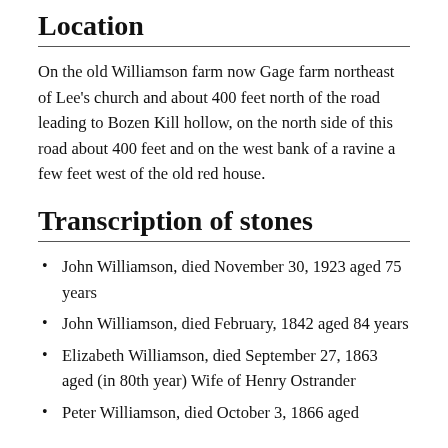Location
On the old Williamson farm now Gage farm northeast of Lee's church and about 400 feet north of the road leading to Bozen Kill hollow, on the north side of this road about 400 feet and on the west bank of a ravine a few feet west of the old red house.
Transcription of stones
John Williamson, died November 30, 1923 aged 75 years
John Williamson, died February, 1842 aged 84 years
Elizabeth Williamson, died September 27, 1863 aged (in 80th year) Wife of Henry Ostrander
Peter Williamson, died October 3, 1866 aged